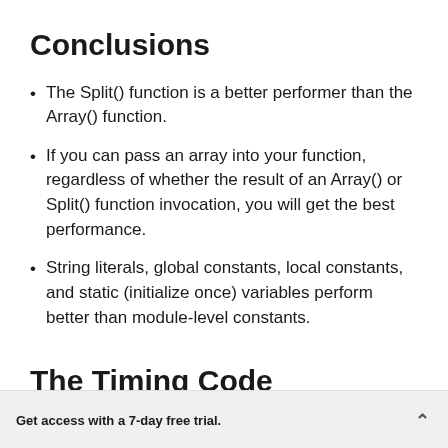Conclusions
The Split() function is a better performer than the Array() function.
If you can pass an array into your function, regardless of whether the result of an Array() or Split() function invocation, you will get the best performance.
String literals, global constants, local constants, and static (initialize once) variables perform better than module-level constants.
The Timing Code
Get access with a 7-day free trial.